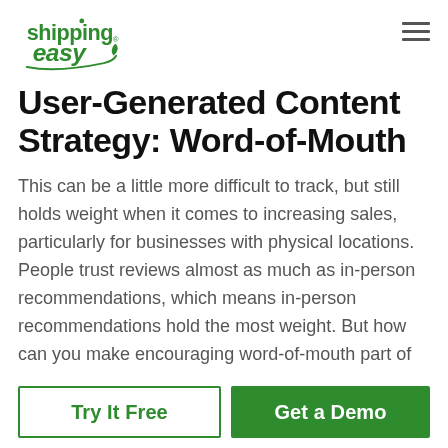[Figure (logo): ShippingEasy green logo with a stylized leaf/arrow mark]
User-Generated Content Strategy: Word-of-Mouth
This can be a little more difficult to track, but still holds weight when it comes to increasing sales, particularly for businesses with physical locations. People trust reviews almost as much as in-person recommendations, which means in-person recommendations hold the most weight. But how can you make encouraging word-of-mouth part of
Try It Free
Get a Demo